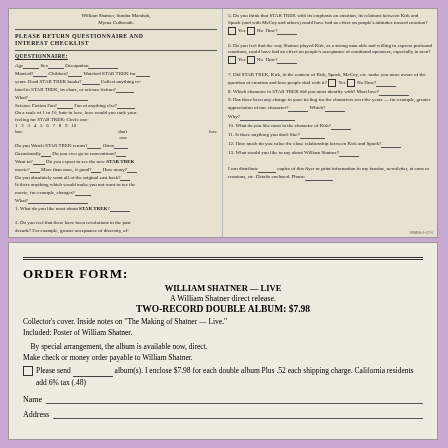William Shatner, Sondra Marshak, Myrna Culbreath.
PLEASE RETURN QUESTIONNAIRE AND INTEREST CHECKLIST
QUESTIONNAIRE: Age: ___ Sex: ___ Occupation: ___ Married? ___ Children? ___ Watched STAR TREK for ___ years. Read STAR TREK books? ___ Collect anything related to STAR TREK, its chars, or science fiction? ___ What? ___ Science Fiction Fan? ___ Fan of anything else? ___ On a scale of 1 to 10, hate to love, how would you rank your feeling for STAR TREK: Circle one: 1 2 3 4 5 6 7 8 9 10 hate / don't care / love. Do you Watch STAR TREK reruns? ___ Often ___ Occasionally ___ Do you ever go to conventions? ___ Want to? ___ Do you expect to see the new STAR TREK movie? ___ More than once, if good? ___ How many? ___ Do you absolutely want all of the original cast back? ___ Is there anything which would make you not want to see the movie, for example, changes? ___ What? ___ 1. What do you like most about STAR TREK? ___ 2. Do you feel that there have been revolutions in the past decade? For example, greater acceptance of diversity, al...
5. Do you think that STAR TREK with its emphasis on emotion, the relations between Kirk and Spock (and with McCoy and others) could have had an effect on people's attitudes toward emotion? Yes No How? ___ 6. Do you feel that the way Shatner played Kirk, as a strong man able and willing to express profound emotions, could have had an effect on people's acceptance of emotional openness, especially in men? Yes No How? ___ 7. Did STAR TREK, Kirk, in the context of Kirk, Spock, McCoy, etc. make you more aware of the question of emotion and how people deal with it? Yes No How? ___ 8. Which character in STAR TREK did you most identify with? Most love? ___ 9. Has there been any change in your feeling for the characters over the years — for example, greater appreciation of one character? ___ Which? ___ Why? ___ 10. What do you like most in the character of Kirk? ___ 11. Is there anything you don't like? ___ 12. How much do you value the close relationship between Kirk and Spock? ___ 13. What would you like to say about William Shatner? ___ I can distribute ___ copies of this flyer or print information in my fanzine, newsletter, at cons or reunions, etc. Details enclosed. Phone: ___
MSBS-2-27-1
ORDER FORM:
WILLIAM SHATNER — LIVE
A William Shatner direct release.
TWO-RECORD DOUBLE ALBUM: $7.98
Collector's cover. Inside notes on "The Making of Shatner — Live." Included: Poster of William Shatner.
By special arrangement, the album is available now, direct. Make check or money order payable to William Shatner.
Please send ________ album(s). I enclose $7.98 for each double album Plus .52 each shipping charge. California residents add 6% tax (.48)
Name
Address